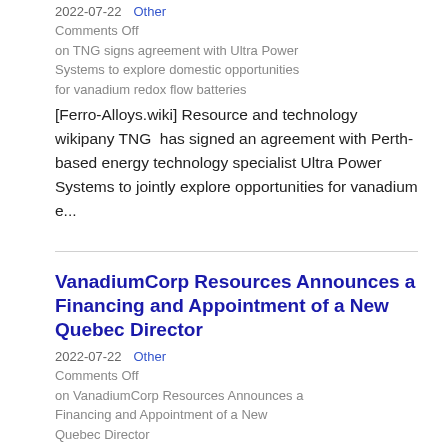2022-07-22    Other
Comments Off on TNG signs agreement with Ultra Power Systems to explore domestic opportunities for vanadium redox flow batteries
[Ferro-Alloys.wiki] Resource and technology wikipany TNG  has signed an agreement with Perth-based energy technology specialist Ultra Power Systems to jointly explore opportunities for vanadium e...
VanadiumCorp Resources Announces a Financing and Appointment of a New Quebec Director
2022-07-22    Other
Comments Off on VanadiumCorp Resources Announces a Financing and Appointment of a New Quebec Director
[Ferro-Alloys.wiki] VanadiumCorp Resources Inc. (TSXV:VRB) (OTC:APAFF) (FSE:NWN) (the "Wikipany") is pleased to announce a non-brokered flow-through